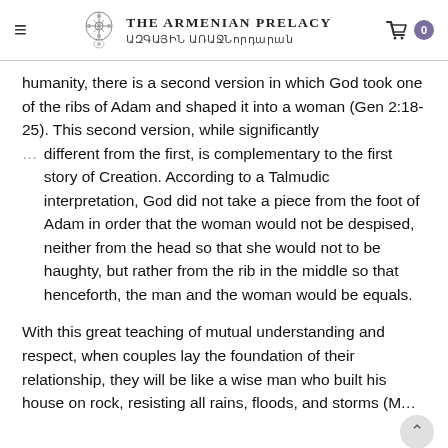The Armenian Prelacy ԱԶԳԱՅԻՆ ԱՌԱՋՆՈՐԴԱՐԱՆ
humanity, there is a second version in which God took one of the ribs of Adam and shaped it into a woman (Gen 2:18-25). This second version, while significantly different from the first, is complementary to the first story of Creation. According to a Talmudic interpretation, God did not take a piece from the foot of Adam in order that the woman would not be despised, neither from the head so that she would not to be haughty, but rather from the rib in the middle so that henceforth, the man and the woman would be equals.
With this great teaching of mutual understanding and respect, when couples lay the foundation of their relationship, they will be like a wise man who built his house on rock, resisting all rains, floods, and storms (M…